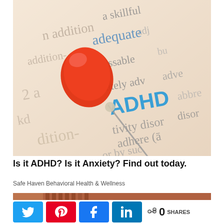[Figure (photo): Close-up photo of a dictionary page with the word ADHD highlighted in blue text, with a red thumbtack/pin stuck into the page. Other visible dictionary words include adequate, addition, passable, adhere, adverb, disorder.]
Is it ADHD? Is it Anxiety? Find out today.
Safe Haven Behavioral Health & Wellness
[Figure (photo): Partial image of a second article thumbnail visible at the bottom, showing red/brown colors.]